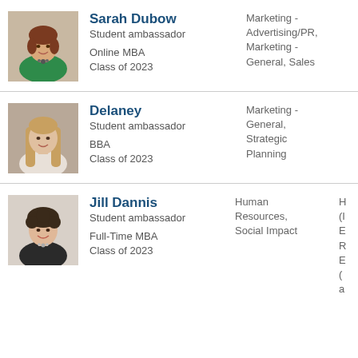[Figure (photo): Headshot of Sarah Dubow, woman in green top with necklace, smiling]
Sarah Dubow
Student ambassador
Online MBA
Class of 2023
Marketing - Advertising/PR, Marketing - General, Sales
[Figure (photo): Headshot of Delaney, woman with long blonde hair, smiling]
Delaney
Student ambassador
BBA
Class of 2023
Marketing - General, Strategic Planning
[Figure (photo): Headshot of Jill Dannis, woman with dark curly hair, smiling, wearing dark jacket]
Jill Dannis
Student ambassador
Full-Time MBA
Class of 2023
Human Resources, Social Impact